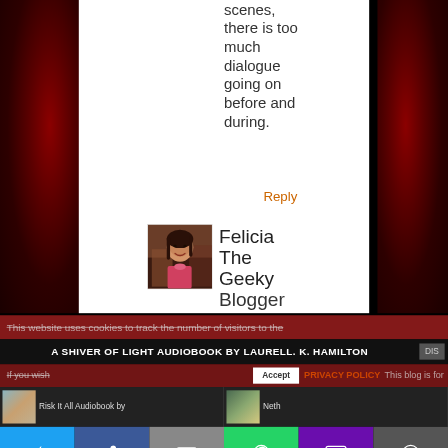scenes, there is too much dialogue going on before and during.
Reply
[Figure (photo): Profile photo of Felicia The Geeky Blogger - a young woman with dark hair smiling]
Felicia The Geeky Blogger
This website uses cookies to track the number of visitors to the site. If you wish...
A SHIVER OF LIGHT AUDIOBOOK BY LAURELL. K. HAMILTON
Accept   PRIVACY POLICY   This blog is for
Risk It All Audiobook by
Neth
[Figure (screenshot): Social share bar with Twitter, Facebook, Email, WhatsApp, SMS, and More buttons]